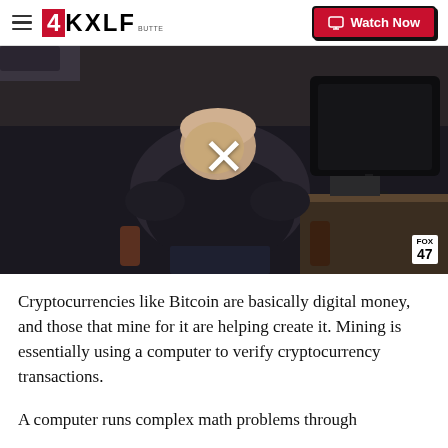4KXLF BUTTE | Watch Now
[Figure (screenshot): Video thumbnail showing a man sitting in a chair in a dimly lit room with a large curved monitor in the background. A white X overlay appears in the center of the video frame. FOX 47 logo visible in bottom-right corner.]
Cryptocurrencies like Bitcoin are basically digital money, and those that mine for it are helping create it. Mining is essentially using a computer to verify cryptocurrency transactions.
A computer runs complex math problems through